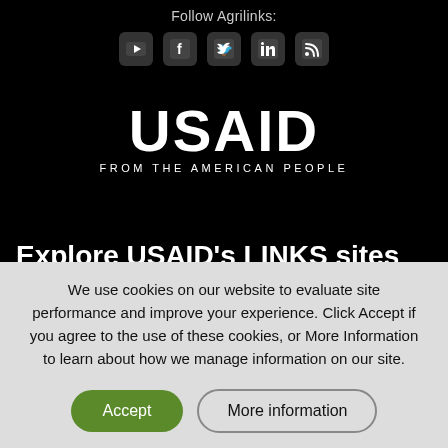Follow Agrilinks:
[Figure (illustration): Social media icons for YouTube, Facebook, Twitter, LinkedIn, and RSS feed on dark background]
[Figure (logo): USAID FROM THE AMERICAN PEOPLE logo in white on black background]
Explore USAID's LINKS sites for learning
We use cookies on our website to evaluate site performance and improve your experience. Click Accept if you agree to the use of these cookies, or More Information to learn about how we manage information on our site.